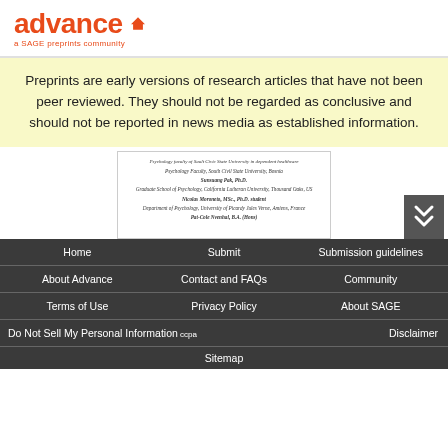[Figure (logo): Advance - a SAGE preprints community logo in orange]
Preprints are early versions of research articles that have not been peer reviewed. They should not be regarded as conclusive and should not be reported in news media as established information.
[Figure (screenshot): Thumbnail of a preprint paper showing author names and affiliations]
Home | Submit | Submission guidelines | About Advance | Contact and FAQs | Community | Terms of Use | Privacy Policy | About SAGE | Do Not Sell My Personal Information CCPA | Disclaimer | Sitemap